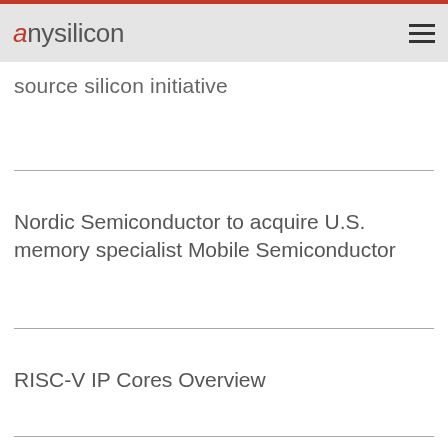anysilicon
source silicon initiative
Nordic Semiconductor to acquire U.S. memory specialist Mobile Semiconductor
RISC-V IP Cores Overview